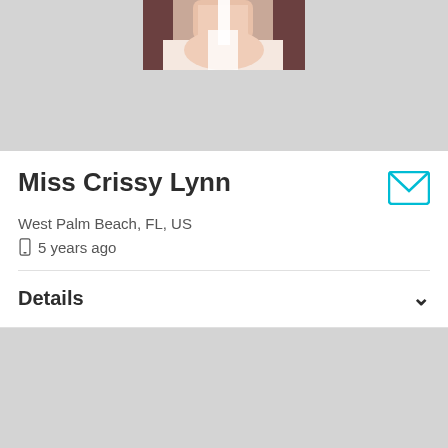[Figure (photo): Partial profile photo of a person, cropped at top, shown against a gray background]
Miss Crissy Lynn
West Palm Beach, FL, US
5 years ago
Details